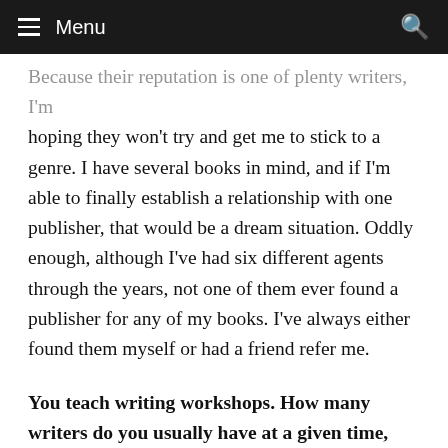Menu
hoping they won't try and get me to stick to a genre. I have several books in mind, and if I'm able to finally establish a relationship with one publisher, that would be a dream situation. Oddly enough, although I've had six different agents through the years, not one of them ever found a publisher for any of my books. I've always either found them myself or had a friend refer me.
You teach writing workshops. How many writers do you usually have at a given time, and how do you run the workshop? Do you assign authors or specific works to read in addition to the writing they're doing (if so, which ones and why)? What do you most hope